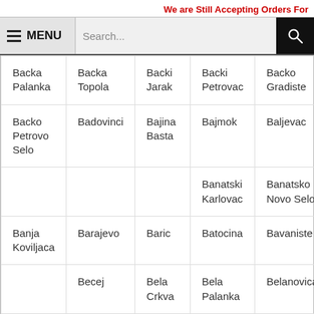We are Still Accepting Orders For
[Figure (screenshot): Navigation bar with hamburger menu icon and MENU label on the left, search box in the middle, and search icon button on the right]
| Backa Palanka | Backa Topola | Backi Jarak | Backi Petrovac | Backo Gradiste |
| Backo Petrovo Selo | Badovinci | Bajina Basta | Bajmok | Baljevac |
|  |  |  | Banatski Karlovac | Banatsko Novo Selo |
| Banja Koviljaca | Barajevo | Baric | Batocina | Bavaniste |
|  | Becej | Bela Crkva | Bela Palanka | Belanovica |
|  |  |  |  | Belgrade |
| Beli Potok | Belo Polje | Beocin | Beska | Bezdan |